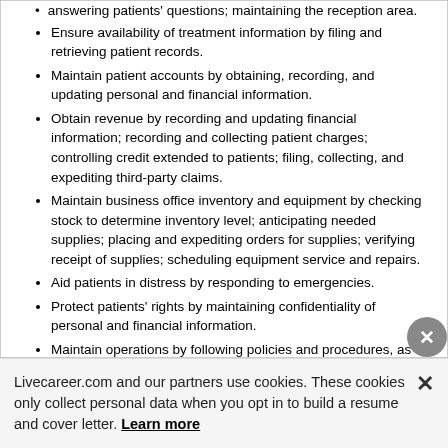answering patients' questions; maintaining the reception area.
Ensure availability of treatment information by filing and retrieving patient records.
Maintain patient accounts by obtaining, recording, and updating personal and financial information.
Obtain revenue by recording and updating financial information; recording and collecting patient charges; controlling credit extended to patients; filing, collecting, and expediting third-party claims.
Maintain business office inventory and equipment by checking stock to determine inventory level; anticipating needed supplies; placing and expediting orders for supplies; verifying receipt of supplies; scheduling equipment service and repairs.
Aid patients in distress by responding to emergencies.
Protect patients' rights by maintaining confidentiality of personal and financial information.
Maintain operations by following policies and procedures, as well as reporting needed changes.
Executive/Administrative Assistant   Aug 2008 to Feb 2013
Gates, Hudson And Associates Inc.   Arlington , VA
Provide high-level administrative support by conducting research, preparing statistical reports, handling information requests.
Livecareer.com and our partners use cookies. These cookies only collect personal data when you opt in to build a resume and cover letter. Learn more